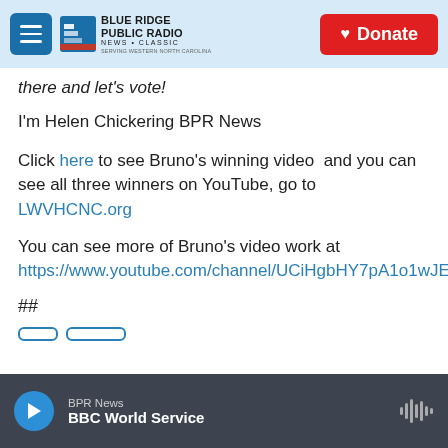Blue Ridge Public Radio — Navigation bar with Donate button
there and let's vote!
I'm Helen Chickering BPR News
Click here to see Bruno's winning video  and you can see all three winners on YouTube, go to LWVHCNC.org
You can see more of Bruno's video work at https://www.youtube.com/channel/UCiHgbHY7pA1o1wJEhgz_1gg
##
BPR News — BBC World Service (player bar)